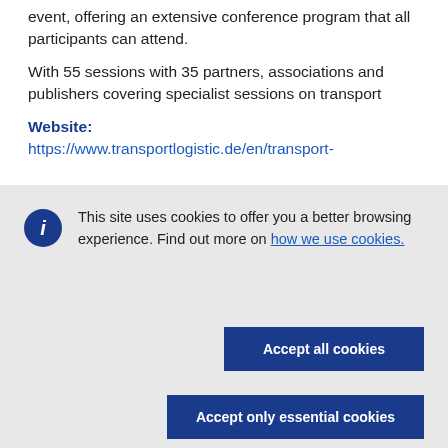event, offering an extensive conference program that all participants can attend.
With 55 sessions with 35 partners, associations and publishers covering specialist sessions on transport
Website:
https://www.transportlogistic.de/en/transport-
This site uses cookies to offer you a better browsing experience. Find out more on how we use cookies.
Accept all cookies
Accept only essential cookies